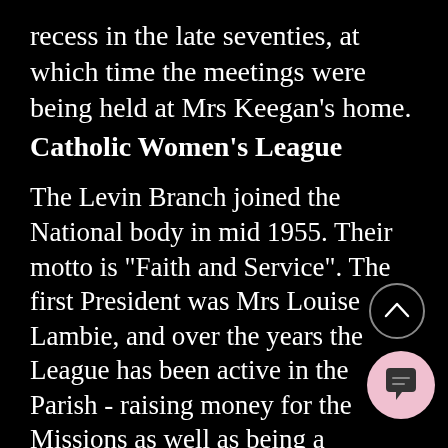recess in the late seventies, at which time the meetings were being held at Mrs Keegan's home.
Catholic Women's League
The Levin Branch joined the National body in mid 1955. Their motto is "Faith and Service". The first President was Mrs Louise Lambie, and over the years the League has been active in the Parish - raising money for the Missions as well as being a spiritual and physical presence in the Parish assisting the bereaved, the